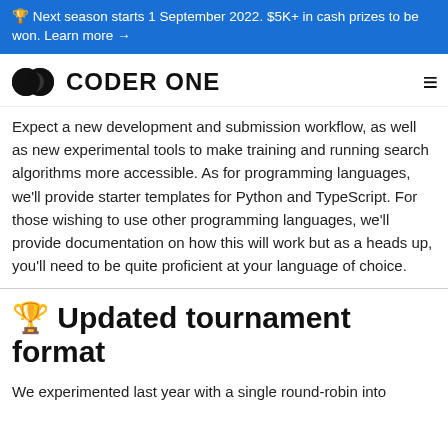🏆 Next season starts 1 September 2022. $5K+ in cash prizes to be won. Learn more →
[Figure (logo): Coder One logo with two overlapping circles and hamburger menu icon]
Expect a new development and submission workflow, as well as new experimental tools to make training and running search algorithms more accessible. As for programming languages, we'll provide starter templates for Python and TypeScript. For those wishing to use other programming languages, we'll provide documentation on how this will work but as a heads up, you'll need to be quite proficient at your language of choice.
🏆 Updated tournament format
We experimented last year with a single round-robin into